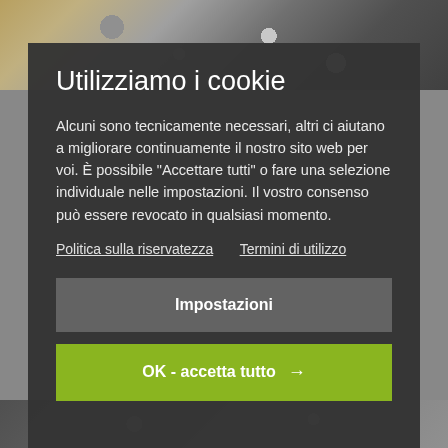[Figure (photo): Industrial machinery/mechanical components background photo, top strip]
Utilizziamo i cookie
Alcuni sono tecnicamente necessari, altri ci aiutano a migliorare continuamente il nostro sito web per voi. È possibile "Accettare tutti" o fare una selezione individuale nelle impostazioni. Il vostro consenso può essere revocato in qualsiasi momento.
Politica sulla riservatezza   Termini di utilizzo
Impostazioni
OK - accetta tutto →
[Figure (photo): Industrial machinery/mechanical components background photo, bottom strip]